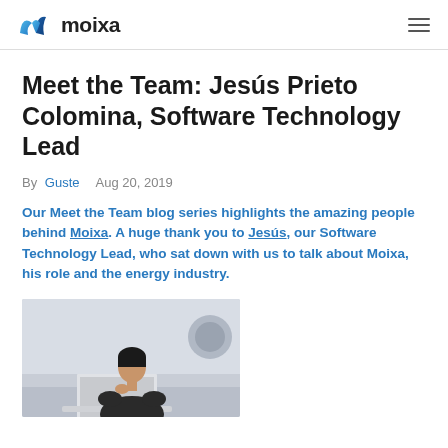moixa
Meet the Team: Jesús Prieto Colomina, Software Technology Lead
By Guste   Aug 20, 2019
Our Meet the Team blog series highlights the amazing people behind Moixa. A huge thank you to Jesús, our Software Technology Lead, who sat down with us to talk about Moixa, his role and the energy industry.
[Figure (photo): Photo of Jesús Prieto Colomina, a man with dark hair sitting at a laptop in a bright room]